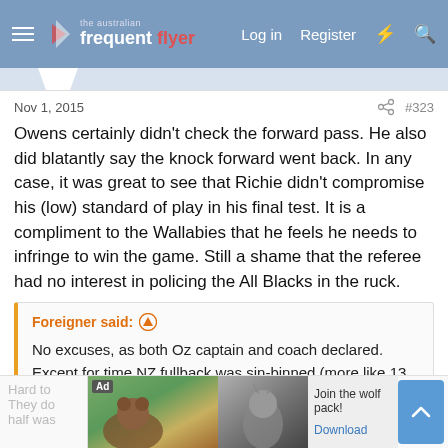The Australian Frequent Flyer — Log in  Register
Nov 1, 2015   #323
Owens certainly didn't check the forward pass. He also did blatantly say the knock forward went back. In any case, it was great to see that Richie didn't compromise his (low) standard of play in his final test. It is a compliment to the Wallabies that he feels he needs to infringe to win the game. Still a shame that the referee had no interest in policing the All Blacks in the ruck.
Foreigner said:
No excuses, as both Oz captain and coach declared. Except for time NZ fullback was sin-binned (more like 13 min. passage) the play was dominated by the All Blacks, deservedly the world champions
Hard to ... They do ... half was...
[Figure (screenshot): Advertisement banner showing wolf and bear wildlife imagery with 'Join the wolf pack!' text and Download button]